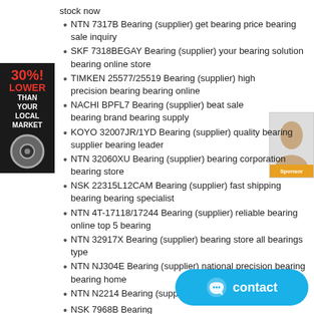stock now
NTN 7317B Bearing (supplier) get bearing price bearing sale inquiry
SKF 7318BEGAY Bearing (supplier) your bearing solution bearing online store
TIMKEN 25577/25519 Bearing (supplier) high precision bearing bearing online
NACHI BPFL7 Bearing (supplier) beat sale bearing brand bearing supply
KOYO 32007JR/1YD Bearing (supplier) quality bearing supplier bearing leader
NTN 32060XU Bearing (supplier) bearing corporation bearing store
NSK 22315L12CAM Bearing (supplier) fast shipping bearing bearing specialist
NTN 4T-17118/17244 Bearing (supplier) reliable bearing online top 5 bearing
NTN 32917X Bearing (supplier) bearing store all bearings type
NTN NJ304E Bearing (supplier) national precision bearing bearing home
NTN N2214 Bearing (supplier) expert bearing buy bearing
NSK 7968B Bearing (supplier) global bearing bra...
TIMKEN 28150/28315B Bearing (supplier) original... price
[Figure (infographic): Left sidebar ad banner: black background with red bold text '30%! LOWER' and white text 'THAN YOUR LOCAL MARKET', with a bearing circle icon below]
[Figure (photo): Small right-side advertisement with a woman's face and an orange 'Sponsor' button at the bottom]
[Figure (other): Teal contact button with chat icon and text 'contact']